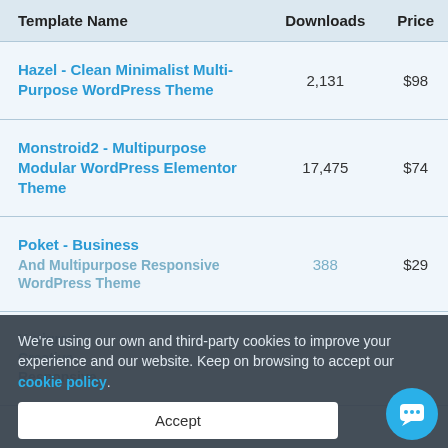| Template Name | Downloads | Price |
| --- | --- | --- |
| Hazel - Clean Minimalist Multi-Purpose WordPress Theme | 2,131 | $98 |
| Monstroid2 - Multipurpose Modular WordPress Elementor Theme | 17,475 | $74 |
| Poket - Business And Multipurpose Responsive WordPress Theme | 388 | $29 |
| Kurigram - Creative Responsive ... |  |  |
We're using our own and third-party cookies to improve your experience and our website. Keep on browsing to accept our cookie policy.